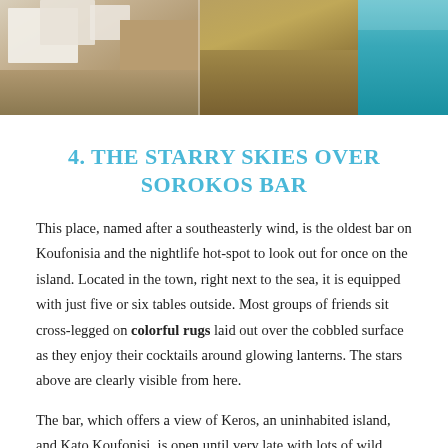[Figure (photo): Aerial view of Koufonisia island showing white buildings on left side and dry terrain in the middle, with turquoise sea visible on the right]
4. THE STARRY SKIES OVER SOROKOS BAR
This place, named after a southeasterly wind, is the oldest bar on Koufonisia and the nightlife hot-spot to look out for once on the island. Located in the town, right next to the sea, it is equipped with just five or six tables outside. Most groups of friends sit cross-legged on colorful rugs laid out over the cobbled surface as they enjoy their cocktails around glowing lanterns. The stars above are clearly visible from here.
The bar, which offers a view of Keros, an uninhabited island, and Kato Koufonisi, is open until very late with lots of wild dancing inside this old, converted Cyclades house. The lit-up